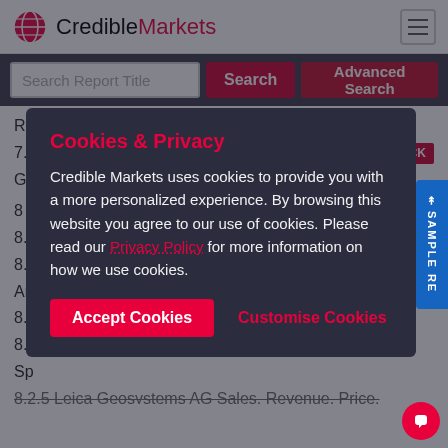CredibleMarkets
Search Report Title | Search | Advanced Search
Rate
7.10 Southeast Asia LiDAR Consu... Gro...
REQUEST A CALL BACK
Cookies & Privacy
Credible Markets uses cookies to provide you with a more personalized experience. By browsing this website you agree to our use of cookies. Please read our Privacy Policy for more information on how we use cookies.
Accept Cookies | Customise Cookies
8 C...
8.1...
8.2... An...
8.2...
8.2... Sp...
8.2.5 Leica Geosystems AG Sales, Revenue, Price, Gross Margin 2016-2021